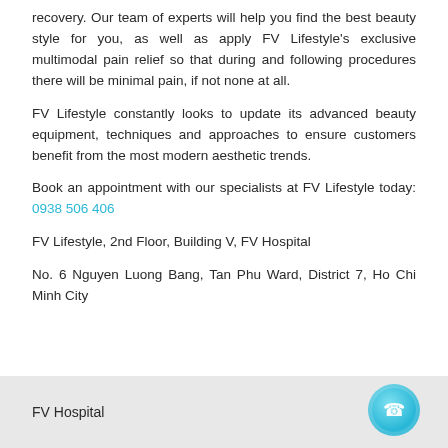recovery. Our team of experts will help you find the best beauty style for you, as well as apply FV Lifestyle's exclusive multimodal pain relief so that during and following procedures there will be minimal pain, if not none at all.
FV Lifestyle constantly looks to update its advanced beauty equipment, techniques and approaches to ensure customers benefit from the most modern aesthetic trends.
Book an appointment with our specialists at FV Lifestyle today: 0938 506 406
FV Lifestyle, 2nd Floor, Building V, FV Hospital
No. 6 Nguyen Luong Bang, Tan Phu Ward, District 7, Ho Chi Minh City
FV Hospital